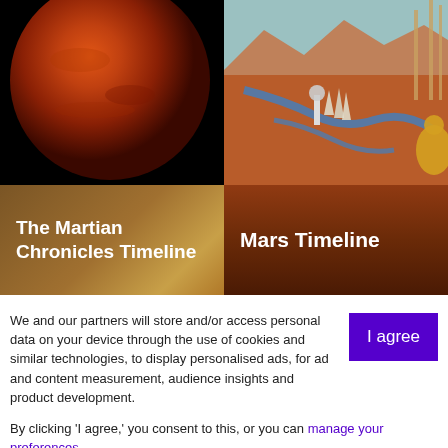[Figure (photo): Close-up photo of Mars planet surface, orange-red sphere against black background]
[Figure (illustration): Sci-fi illustration of Mars landscape with rivers, towers, and a golden figure on the right]
The Martian Chronicles Timeline
Mars Timeline
We and our partners will store and/or access personal data on your device through the use of cookies and similar technologies, to display personalised ads, for ad and content measurement, audience insights and product development.
By clicking 'I agree,' you consent to this, or you can manage your preferences.